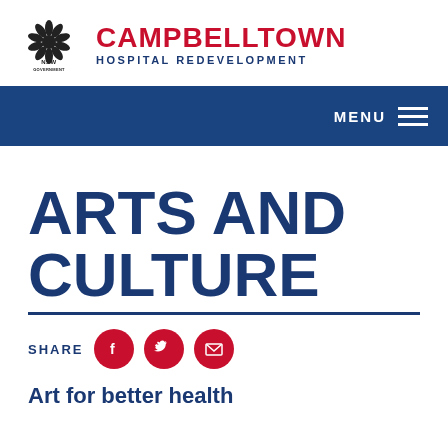[Figure (logo): NSW Government waratah logo with 'NSW GOVERNMENT' text, black and white]
CAMPBELLTOWN HOSPITAL REDEVELOPMENT
MENU
ARTS AND CULTURE
SHARE
Art for better health